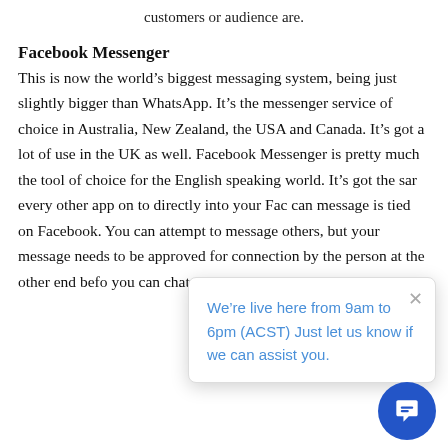customers or audience are.
Facebook Messenger
This is now the world’s biggest messaging system, being just slightly bigger than WhatsApp. It’s the messenger service of choice in Australia, New Zealand, the USA and Canada. It’s got a lot of use in the UK as well. Facebook Messenger is pretty much the tool of choice for the English speaking world. It’s got the sam every other app on to directly into your Fac can message is tied on Facebook. You can attempt to message others, but your message needs to be approved for connection by the person at the other end before you can chat with them – and it’s not always
We’re live here from 9am to 6pm (ACST) Just let us know if we can assist you.